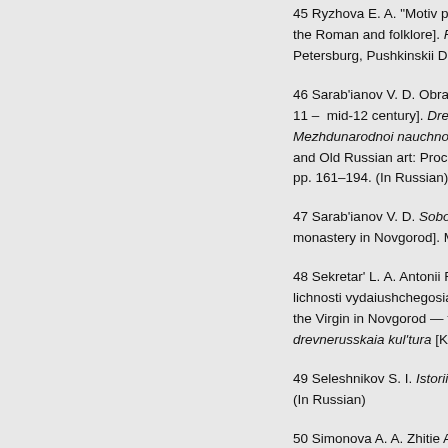45 Ryzhova E. A. "Motiv plavaniia sviatogo na kamne" v zhiti... the Roman and folklore]. Russkaia agiografiia: Issledovaniia. Petersburg, Pushkinskii Dom Publ., 2011, vol. II, pp. 3–34. (In...
46 Sarab'ianov V. D. Obraz monashestva v drevnerusskom isk... 11 – mid-12 century]. Drevnerusskoe iskusstvo [T. 29]. Ideia i... Mezhdunarodnoi nauchnoi konferentsii 1–2 noiabria 2005 g. [... and Old Russian art: Proceedings of the International scientific... pp. 161–194. (In Russian)
47 Sarab'ianov V. D. Sobor Rozhdestva Bogoroditsy Antoniev... monastery in Novgorod]. Moscow, Severnyi palomnik Publ., 2...
48 Sekretar' L. A. Antonii Rimlianin i ego deiatel'nost' po ustroe... lichnosti vydaiushchegosia uchenogo-matematika i bogoslova... the Virgin in Novgorod — the place of formation of the persona... drevnerusskaia kul'tura [Kirik Novgorodets and Old Russian cu...
49 Seleshnikov S. I. Istoriia kalendaria i khronologiia [Calenda... (In Russian)
50 Simonova A. A. Zhitie Antoniia Rimlianina: evropeiskie para... hagiographic plotting]. In: Kirik Novgorodets i drevnerusskaia k...